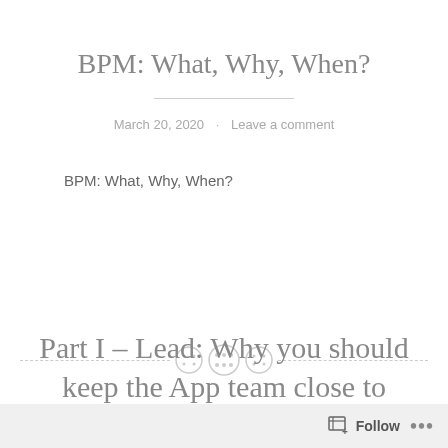BPM: What, Why, When?
March 20, 2020 · Leave a comment
BPM: What, Why, When?
[Figure (illustration): A decorative horizontal divider with three circular button-like icons in the center and dashed lines extending left and right]
Part I – Lead: Why you should keep the App team close to